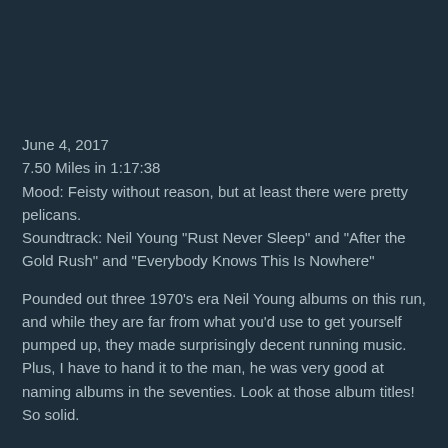June 4, 2017
7.50 Miles in 1:17:38
Mood: Feisty without reason, but at least there were pretty pelicans.
Soundtrack: Neil Young "Rust Never Sleep" and "After the Gold Rush" and "Everybody Knows This Is Nowhere"
Pounded out three 1970's era Neil Young albums on this run, and while they are far from what you'd use to get yourself pumped up, they made surprisingly decent running music. Plus, I have to hand it to the man, he was very good at naming albums in the seventies. Look at those album titles! So solid.